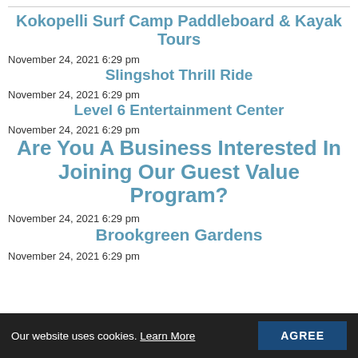Kokopelli Surf Camp Paddleboard & Kayak Tours
November 24, 2021 6:29 pm
Slingshot Thrill Ride
November 24, 2021 6:29 pm
Level 6 Entertainment Center
November 24, 2021 6:29 pm
Are You A Business Interested In Joining Our Guest Value Program?
November 24, 2021 6:29 pm
Brookgreen Gardens
November 24, 2021 6:29 pm
Our website uses cookies. Learn More  AGREE